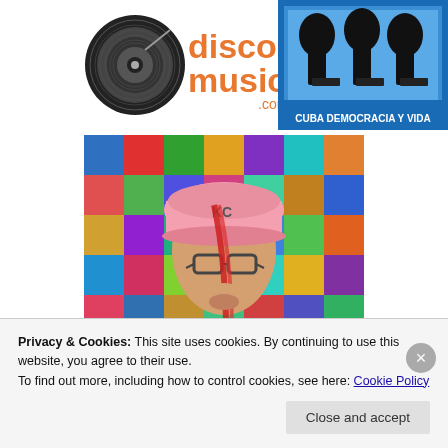[Figure (logo): discomusic.com logo with vinyl record icon and orange text]
[Figure (logo): Cuba Democracia Y Vida logo with blue border and potted plants illustration]
[Figure (photo): Person wearing a pink KC baseball cap and glasses, white Mickey Mouse t-shirt, with a red ribbon/streamer over face, colorful patchwork background]
Privacy & Cookies: This site uses cookies. By continuing to use this website, you agree to their use.
To find out more, including how to control cookies, see here: Cookie Policy
Close and accept